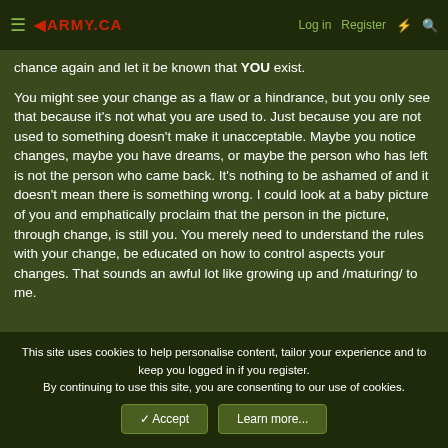≡ ◄ARMY.CA   Log in   Register   ⚡   🔍
chance again and let it be known that YOU exist.
You might see your change as a flaw or a hindrance, but you only see that because it's not what you are used to. Just because you are not used to something doesn't make it unacceptable. Maybe you notice changes, maybe you have dreams, or maybe the person who has left is not the person who came back. It's nothing to be ashamed of and it doesn't mean there is something wrong. I could look at a baby picture of you and emphatically proclaim that the person in the picture, through change, is still you. You merely need to understand the rules with your change, be educated on how to control aspects your changes. That sounds an awful lot like growing up and /maturing/ to me.
This site uses cookies to help personalise content, tailor your experience and to keep you logged in if you register.
By continuing to use this site, you are consenting to our use of cookies.
✓ Accept   Learn more...